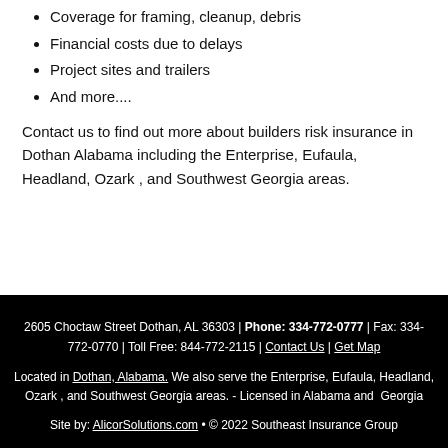Coverage for framing, cleanup, debris
Financial costs due to delays
Project sites and trailers
And more....
Contact us to find out more about builders risk insurance in Dothan Alabama including the Enterprise, Eufaula, Headland, Ozark , and Southwest Georgia areas.
2605 Choctaw Street Dothan, AL 36303 | Phone: 334-772-0777 | Fax: 334-772-0770 | Toll Free: 844-772-2115 | Contact Us | Get Map
Located in Dothan, Alabama. We also serve the Enterprise, Eufaula, Headland, Ozark , and Southwest Georgia areas. - Licensed in Alabama and Georgia
Site by: AlicorSolutions.com • © 2022 Southeast Insurance Group